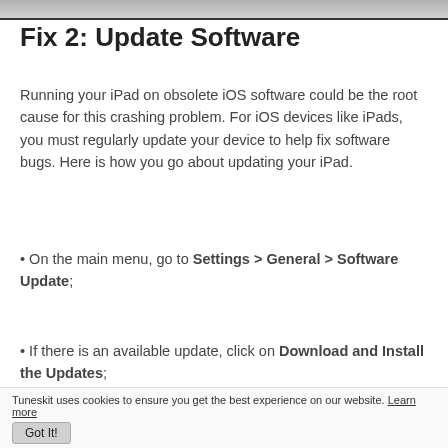[Figure (photo): Partial view of a device (iPad/tablet) shown at top of page, gray gradient strip]
Fix 2: Update Software
Running your iPad on obsolete iOS software could be the root cause for this crashing problem. For iOS devices like iPads, you must regularly update your device to help fix software bugs. Here is how you go about updating your iPad.
• On the main menu, go to Settings > General > Software Update;
• If there is an available update, click on Download and Install the Updates;
Tuneskit uses cookies to ensure you get the best experience on our website. Learn more  Got It!